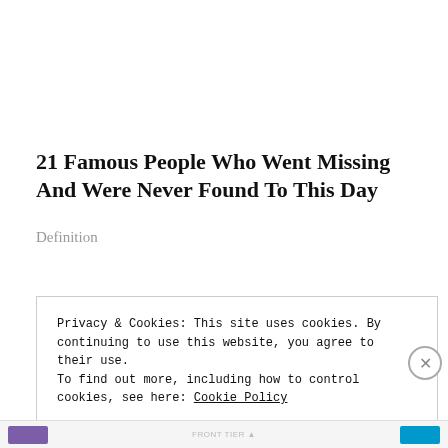21 Famous People Who Went Missing And Were Never Found To This Day
Definition
Privacy & Cookies: This site uses cookies. By continuing to use this website, you agree to their use.
To find out more, including how to control cookies, see here: Cookie Policy
Close and accept